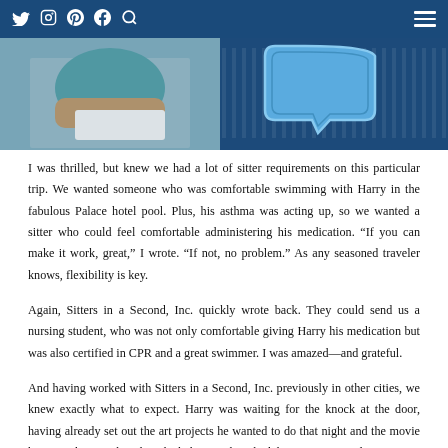Twitter Instagram Pinterest Facebook Search [hamburger menu]
[Figure (photo): Hero image showing a child writing or drawing, and a decorative blue speech bubble shape on a dark blue background]
I was thrilled, but knew we had a lot of sitter requirements on this particular trip. We wanted someone who was comfortable swimming with Harry in the fabulous Palace hotel pool. Plus, his asthma was acting up, so we wanted a sitter who could feel comfortable administering his medication. “If you can make it work, great,” I wrote. “If not, no problem.” As any seasoned traveler knows, flexibility is key.
Again, Sitters in a Second, Inc. quickly wrote back. They could send us a nursing student, who was not only comfortable giving Harry his medication but was also certified in CPR and a great swimmer. I was amazed—and grateful.
And having worked with Sitters in a Second, Inc. previously in other cities, we knew exactly what to expect. Harry was waiting for the knock at the door, having already set out the art projects he wanted to do that night and the movie he wanted to watch. When the babysitter knocked, he was so excited to see a